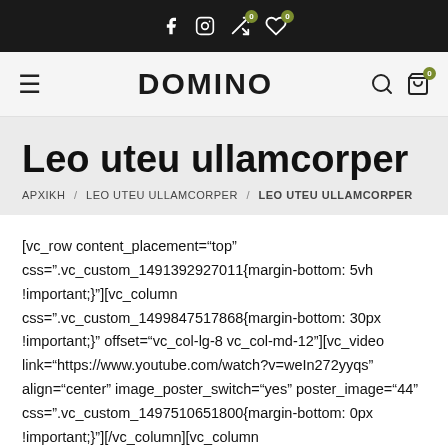DOMINO — navigation header with social icons, hamburger menu, search, and cart
Leo uteu ullamcorper
ΑΡΧΙΚΗ / LEO UTEU ULLAMCORPER / LEO UTEU ULLAMCORPER
[vc_row content_placement="top" css=".vc_custom_1491392927011{margin-bottom: 5vh !important;}"][vc_column css=".vc_custom_1499847517868{margin-bottom: 30px !important;}" offset="vc_col-lg-8 vc_col-md-12"][vc_video link="https://www.youtube.com/watch?v=weIn272yyqs" align="center" image_poster_switch="yes" poster_image="44" css=".vc_custom_1497510651800{margin-bottom: 0px !important;}"][/vc_column][vc_column